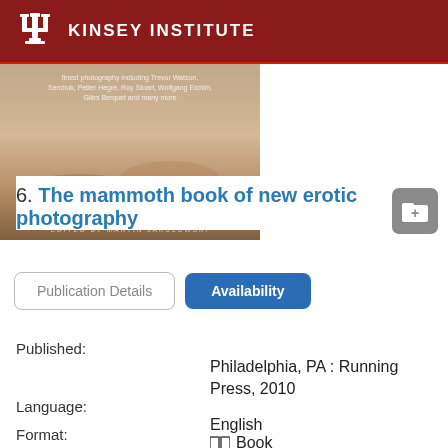KINSEY INSTITUTE
[Figure (photo): Partial book cover showing erotic photography with text overlay including names: 'Serchuk, Petter Hegre, Roy Stuart, Wolfgang Eichlin, Giles Berquet and many more' and 'Edited by Martin Jakulowski']
6. The mammoth book of new erotic photography
Publication Details | Availability
Published:
Philadelphia, PA : Running Press, 2010
Language:
English
Format:
Book